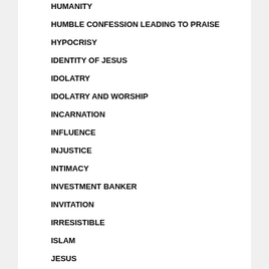HUMANITY
HUMBLE CONFESSION LEADING TO PRAISE
HYPOCRISY
IDENTITY OF JESUS
IDOLATRY
IDOLATRY AND WORSHIP
INCARNATION
INFLUENCE
INJUSTICE
INTIMACY
INVESTMENT BANKER
INVITATION
IRRESISTIBLE
ISLAM
JESUS